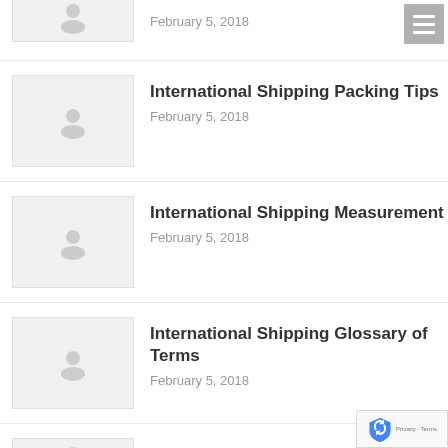February 5, 2018
International Shipping Packing Tips
February 5, 2018
International Shipping Measurement
February 5, 2018
International Shipping Glossary of Terms
February 5, 2018
Packing your own container